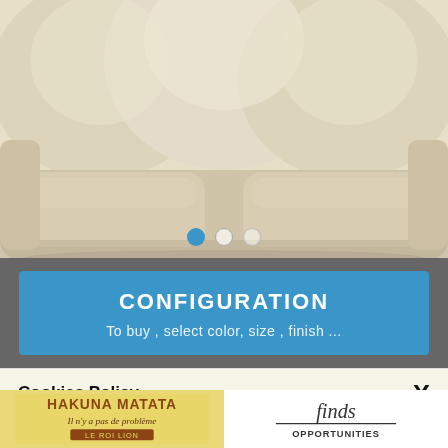[Figure (photo): A cream/beige colored sofa with multiple cushions, carousel with 3 dots (first active in blue)]
CONFIGURATION
To buy , select color, size , finish ...
Cookies Policy
We use our own cookies and third party cookies in order to provide you a better user experience and service. If you continue to browse and use this website you are agreeing to the use of these cookies. More information about our Cookies Policy
[Figure (other): Bottom strip with two panels: left panel shows 'HAKUNA MATATA Il n'y a pas de problème LE ROI LION' on yellow background; right panel shows 'finds OPPORTUNITIES' in script/serif on white background]